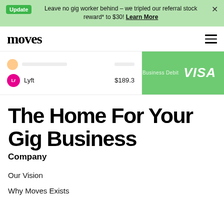Update  Leave no gig worker behind – we tripled our referral stock reward* to $30! Learn More
[Figure (logo): Moves company logo in black serif font]
[Figure (screenshot): App screenshot showing Lyft earning of $189.3 and a green Business Debit Visa card]
The Home For Your Gig Business
Company
Our Vision
Why Moves Exists